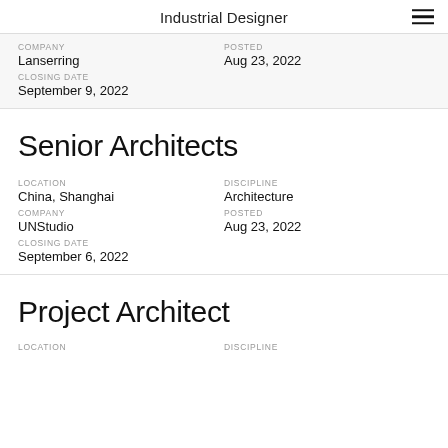Industrial Designer
COMPANY
Lanserring
CLOSING DATE
September 9, 2022
POSTED
Aug 23, 2022
Senior Architects
LOCATION
China, Shanghai
DISCIPLINE
Architecture
COMPANY
UNStudio
POSTED
Aug 23, 2022
CLOSING DATE
September 6, 2022
Project Architect
LOCATION
DISCIPLINE